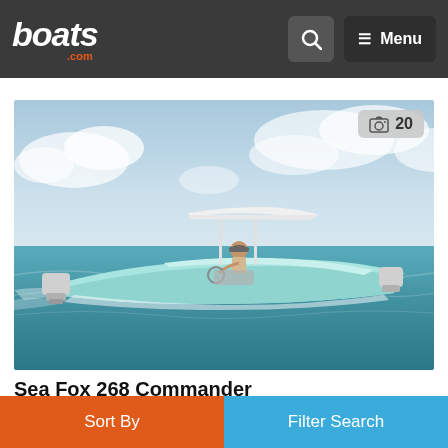boats.com — Search icon — Menu
[Figure (photo): A light blue center console Sea Fox 268 Commander boat speeding across open water with a person at the helm, two outboard motors visible, under a partly cloudy sky. Photo count badge shows 20 photos.]
Sea Fox 268 Commander
Harrison Township, Michigan
2022
Sort By | Filter Search